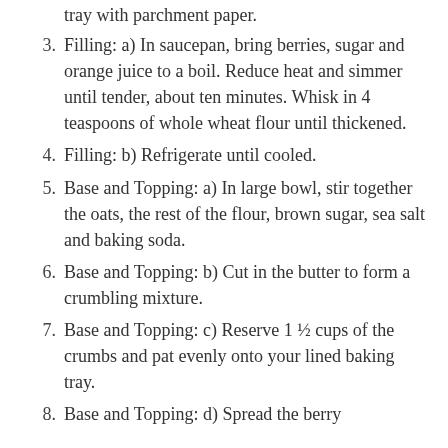tray with parchment paper.
3. Filling: a) In saucepan, bring berries, sugar and orange juice to a boil. Reduce heat and simmer until tender, about ten minutes. Whisk in 4 teaspoons of whole wheat flour until thickened.
4. Filling: b) Refrigerate until cooled.
5. Base and Topping: a) In large bowl, stir together the oats, the rest of the flour, brown sugar, sea salt and baking soda.
6. Base and Topping: b) Cut in the butter to form a crumbling mixture.
7. Base and Topping: c) Reserve 1 ½ cups of the crumbs and pat evenly onto your lined baking tray.
8. Base and Topping: d) Spread the berry